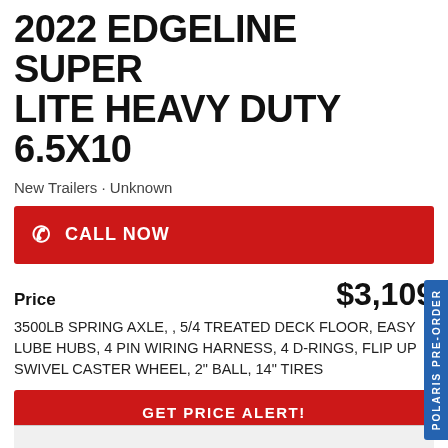2022 EDGELINE SUPER LITE HEAVY DUTY 6.5X10
New Trailers · Unknown
CALL NOW
Price   $3,109
3500LB SPRING AXLE, , 5/4 TREATED DECK FLOOR, EASY LUBE HUBS, 4 PIN WIRING HARNESS, 4 D-RINGS, FLIP UP SWIVEL CASTER WHEEL, 2" BALL, 14" TIRES
GET PRICE ALERT!
REQUEST MORE INFORMATION